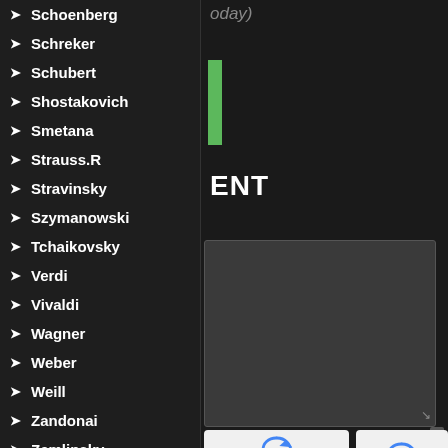Schoenberg
Schreker
Schubert
Shostakovich
Smetana
Strauss.R
Stravinsky
Szymanowski
Tchaikovsky
Verdi
Vivaldi
Wagner
Weber
Weill
Zandonai
Zemlinsky
today)
ENT
[Figure (screenshot): reCAPTCHA widgets showing Privacy and Terms links]